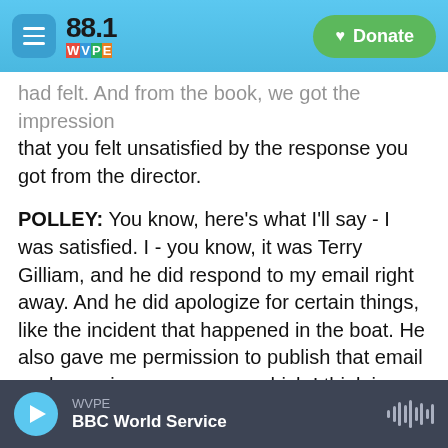88.1 WVPE — Donate
had felt. And from the book, we got the impression that you felt unsatisfied by the response you got from the director.
POLLEY: You know, here's what I'll say - I was satisfied. I - you know, it was Terry Gilliam, and he did respond to my email right away. And he did apologize for certain things, like the incident that happened in the boat. He also gave me permission to publish that email exchange in a newspaper, which I think is an unusual thing to agree to when you might not look - something might not be painting you in such a flattering light. Like, a lot of the things I was leveling at him were not
WVPE — BBC World Service